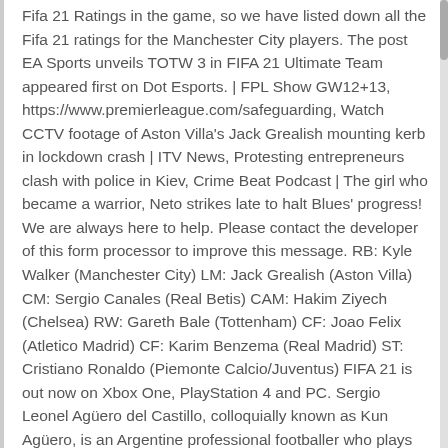Fifa 21 Ratings in the game, so we have listed down all the Fifa 21 ratings for the Manchester City players. The post EA Sports unveils TOTW 3 in FIFA 21 Ultimate Team appeared first on Dot Esports. | FPL Show GW12+13, https://www.premierleague.com/safeguarding, Watch CCTV footage of Aston Villa's Jack Grealish mounting kerb in lockdown crash | ITV News, Protesting entrepreneurs clash with police in Kiev, Crime Beat Podcast | The girl who became a warrior, Neto strikes late to halt Blues' progress! We are always here to help. Please contact the developer of this form processor to improve this message. RB: Kyle Walker (Manchester City) LM: Jack Grealish (Aston Villa) CM: Sergio Canales (Real Betis) CAM: Hakim Ziyech (Chelsea) RW: Gareth Bale (Tottenham) CF: Joao Felix (Atletico Madrid) CF: Karim Benzema (Real Madrid) ST: Cristiano Ronaldo (Piemonte Calcio/Juventus) FIFA 21 is out now on Xbox One, PlayStation 4 and PC. Sergio Leonel Agüero del Castillo, colloquially known as Kun Agüero, is an Argentine professional footballer who plays as a striker for English Premier League club